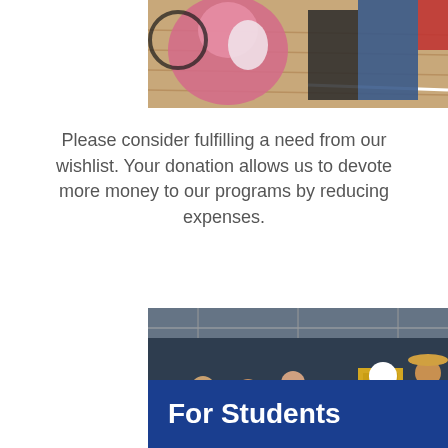[Figure (photo): Partial view of people at an event in a gymnasium, with colorful clothing visible including pink and blue garments on a wooden floor.]
Please consider fulfilling a need from our wishlist. Your donation allows us to devote more money to our programs by reducing expenses.
[Figure (photo): Volunteers sorting and organizing large stacks of school supplies including notebooks and folders on tables in a room with dark blue walls.]
For Students